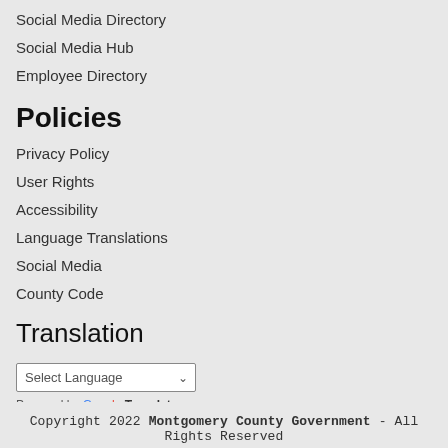Social Media Directory
Social Media Hub
Employee Directory
Policies
Privacy Policy
User Rights
Accessibility
Language Translations
Social Media
County Code
Translation
Select Language
Powered by Google Translate
Copyright 2022 Montgomery County Government - All Rights Reserved